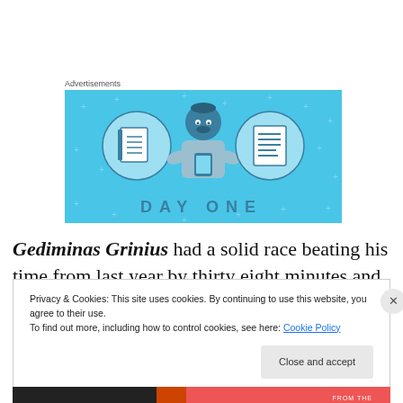Advertisements
[Figure (illustration): Advertisement banner with light blue background showing an illustrated person holding a phone, flanked by two circular icons containing a notebook and a document/list. Text at bottom reads 'DAY ONE'.]
Gediminas Grinius had a solid race beating his time from last year by thirty eight minutes and adding to his tally
Privacy & Cookies: This site uses cookies. By continuing to use this website, you agree to their use.
To find out more, including how to control cookies, see here: Cookie Policy
Close and accept